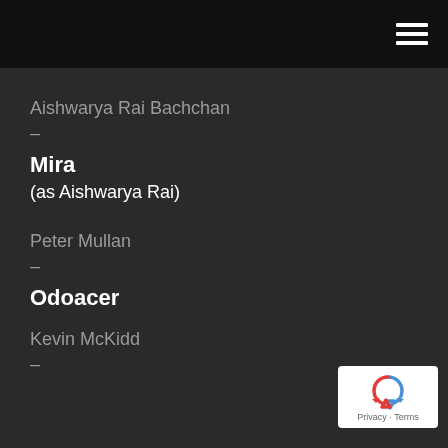Aishwarya Rai Bachchan — Mira (as Aishwarya Rai)
Peter Mullan — Odoacer
Kevin McKidd —